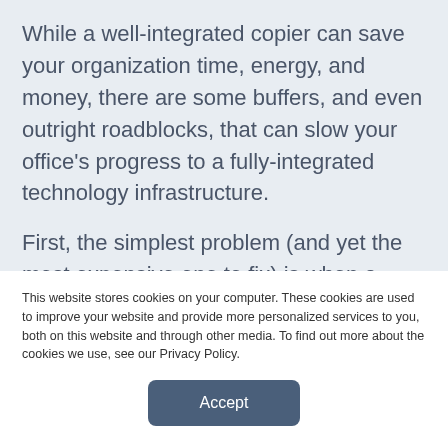While a well-integrated copier can save your organization time, energy, and money, there are some buffers, and even outright roadblocks, that can slow your office's progress to a fully-integrated technology infrastructure.
First, the simplest problem (and yet the most expensive one to fix) is when a machine is too old to properly integrate with up-to-date technology and solutions. While this may not
This website stores cookies on your computer. These cookies are used to improve your website and provide more personalized services to you, both on this website and through other media. To find out more about the cookies we use, see our Privacy Policy.